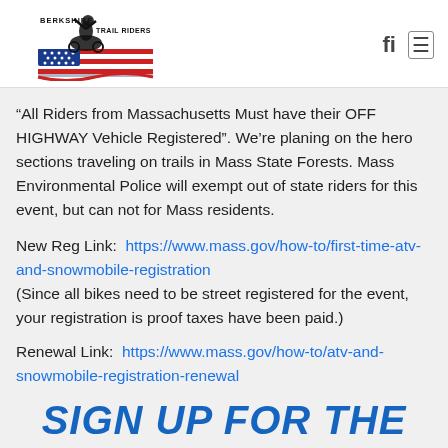Berkshire Trail Riders logo and navigation icons
“All Riders from Massachusetts Must have their OFF HIGHWAY Vehicle Registered”. We’re planing on the hero sections traveling on trails in Mass State Forests. Mass Environmental Police will exempt out of state riders for this event, but can not for Mass residents.
New Reg Link: https://www.mass.gov/how-to/first-time-atv-and-snowmobile-registration (Since all bikes need to be street registered for the event, your registration is proof taxes have been paid.)
Renewal Link: https://www.mass.gov/how-to/atv-and-snowmobile-registration-renewal
SIGN UP FOR THE FUN